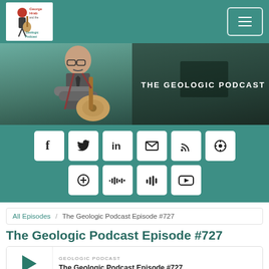George Hrab and the Geologic Podcast — navigation header
[Figure (photo): Hero banner image showing a bald man with glasses holding a guitar, sitting with arms crossed, in front of a textured teal/green background. Text overlay reads THE GEOLOGIC PODCAST.]
[Figure (infographic): Teal social media sharing bar with icons for Facebook, Twitter, LinkedIn, Email/Envelope, RSS, Podcast, Overcast, Stitcher, Google Podcasts, YouTube]
All Episodes / The Geologic Podcast Episode #727
The Geologic Podcast Episode #727
GEOLOGIC PODCAST
The Geologic Podcast Episode #727